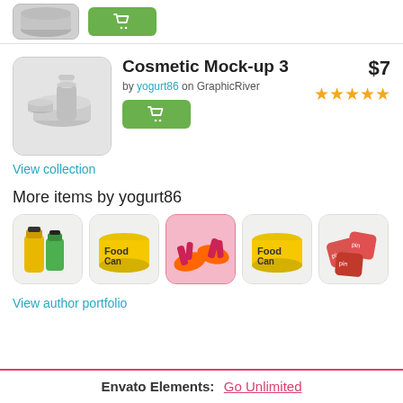[Figure (photo): Partial view of a product thumbnail (cosmetic/silver container) at top left, partially cropped]
[Figure (photo): Green buy/cart button at top]
[Figure (photo): Cosmetic Mock-up 3 product thumbnail showing white cosmetic jars]
Cosmetic Mock-up 3
by yogurt86 on GraphicRiver
$7
★★★★★
View collection
More items by yogurt86
[Figure (photo): Yellow and green drink bottles mockup thumbnail]
[Figure (photo): FoodCan yellow food can mockup thumbnail]
[Figure (photo): Pink/orange flip flops sandals mockup thumbnail (active/highlighted)]
[Figure (photo): FoodCan yellow food can mockup thumbnail (variant 2)]
[Figure (photo): Pin badges / button badges mockup thumbnail]
View author portfolio
Envato Elements:  Go Unlimited